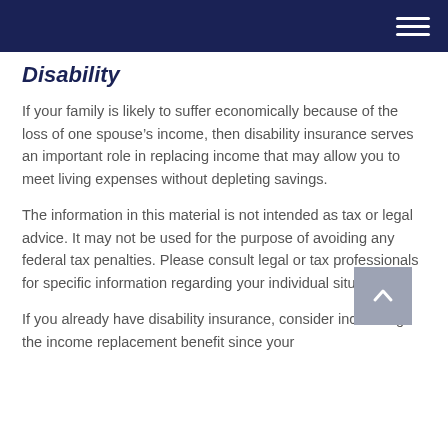Disability
If your family is likely to suffer economically because of the loss of one spouse’s income, then disability insurance serves an important role in replacing income that may allow you to meet living expenses without depleting savings.
The information in this material is not intended as tax or legal advice. It may not be used for the purpose of avoiding any federal tax penalties. Please consult legal or tax professionals for specific information regarding your individual situation.
If you already have disability insurance, consider increasing the income replacement benefit since your